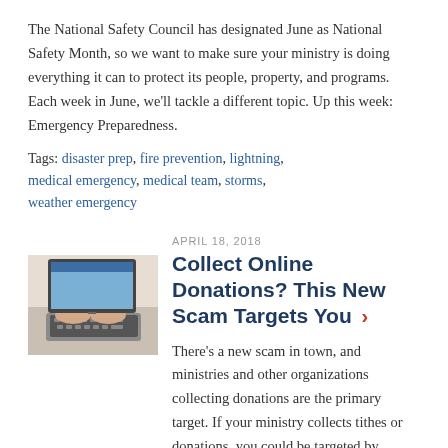The National Safety Council has designated June as National Safety Month, so we want to make sure your ministry is doing everything it can to protect its people, property, and programs. Each week in June, we'll tackle a different topic. Up this week: Emergency Preparedness.
Tags: disaster prep, fire prevention, lightning, medical emergency, medical team, storms, weather emergency
[Figure (photo): Hands typing on a laptop keyboard, close-up photo]
APRIL 18, 2018
Collect Online Donations? This New Scam Targets You ›
There's a new scam in town, and ministries and other organizations collecting donations are the primary target. If your ministry collects tithes or donations, you could be targeted by scammers practicing donation overpayment fraud.
Tags: donations, finances, fraud, cyber